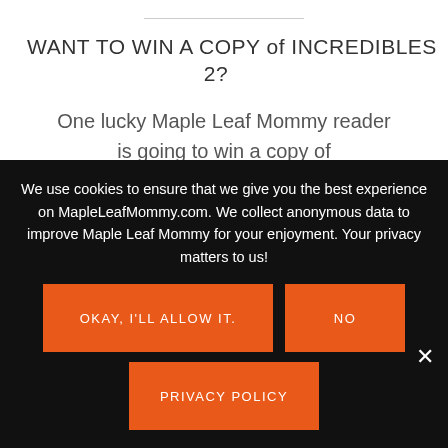WANT TO WIN A COPY of INCREDIBLES 2?
One lucky Maple Leaf Mommy reader is going to win a copy of Incredibles 2
This giveaway is open to Canadian residents only
We use cookies to ensure that we give you the best experience on MapleLeafMommy.com. We collect anonymous data to improve Maple Leaf Mommy for your enjoyment. Your privacy matters to us!
OKAY, I'LL ALLOW IT.
NO
PRIVACY POLICY